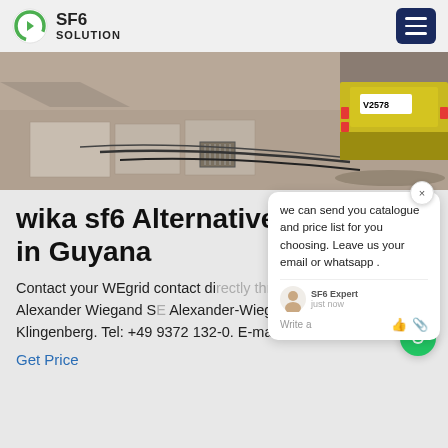SF6 SOLUTION
[Figure (photo): Outdoor photo showing cables and equipment on ground with a yellow truck in background, license plate V2578]
wika sf6 Alternatives ng in Guyana
Contact your WEgrid contact directly through our company Alexander Wiegand SE Alexander-Wiegand-Str. 30 63911 Klingenberg. Tel: +49 9372 132-0. E-mail: [email protected]
Get Price
[Figure (screenshot): Chat popup overlay with message: we can send you catalogue and price list for you choosing. Leave us your email or whatsapp. Shows SF6 Expert avatar, just now timestamp, Write a message input with thumbs up and paperclip icons.]